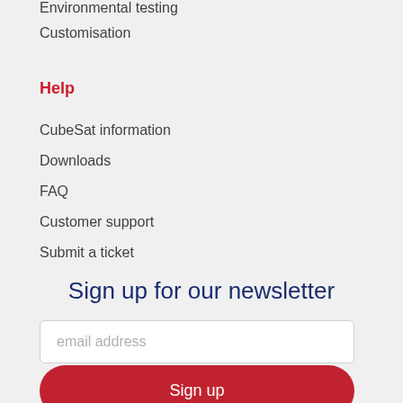Environmental testing
Customisation
Help
CubeSat information
Downloads
FAQ
Customer support
Submit a ticket
Sign up for our newsletter
email address
Sign up